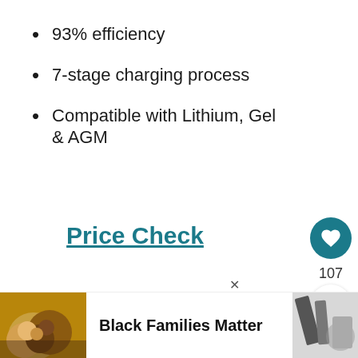93% efficiency
7-stage charging process
Compatible with Lithium, Gel & AGM
Price Check
107
CTEK MXS10
WHAT'S NEXT → 5 Best RV Converter...
Black Families Matter